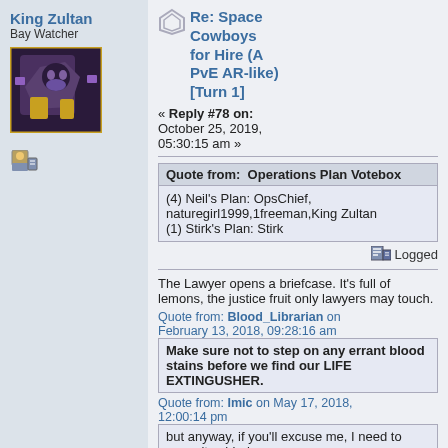King Zultan
Bay Watcher
[Figure (photo): Avatar image of King Zultan showing dark fantasy character artwork]
[Figure (illustration): Small user icon pixel art]
Re: Space Cowboys for Hire (A PvE AR-like) [Turn 1]
« Reply #78 on: October 25, 2019, 05:30:15 am »
Quote from:  Operations Plan Votebox
| (4) Neil's Plan: OpsChief, naturegirl1999,1freeman,King Zultan |
| (1) Stirk's Plan: Stirk |
Logged
The Lawyer opens a briefcase. It's full of lemons, the justice fruit only lawyers may touch.
Quote from: Blood_Librarian on February 13, 2018, 09:28:16 am
Make sure not to step on any errant blood stains before we find our LIFE EXTINGUSHER.
Quote from: Imic on May 17, 2018, 12:00:14 pm
but anyway, if you'll excuse me, I need to commit sebbaku.
Quote from: Leodanny
Can I have the sword when you're done?